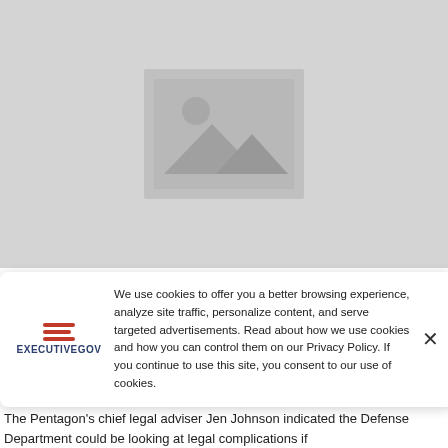[Figure (photo): Gray image placeholder with mountain/landscape icon in center]
We use cookies to offer you a better browsing experience, analyze site traffic, personalize content, and serve targeted advertisements. Read about how we use cookies and how you can control them on our Privacy Policy. If you continue to use this site, you consent to our use of cookies.
The Pentagon's chief legal adviser Jen Johnson indicated the Defense Department could be looking at legal complications if